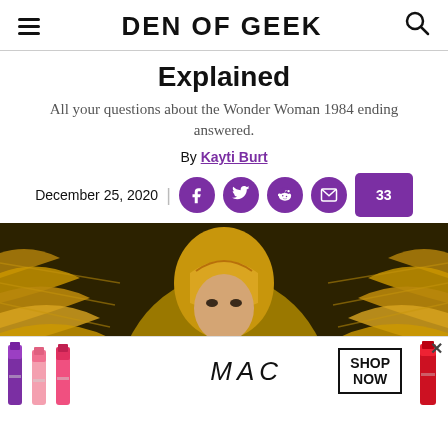DEN OF GEEK
Explained
All your questions about the Wonder Woman 1984 ending answered.
By Kayti Burt
December 25, 2020
[Figure (photo): Wonder Woman in gold armor suit from Wonder Woman 1984]
[Figure (photo): MAC cosmetics advertisement showing lipsticks with SHOP NOW button]